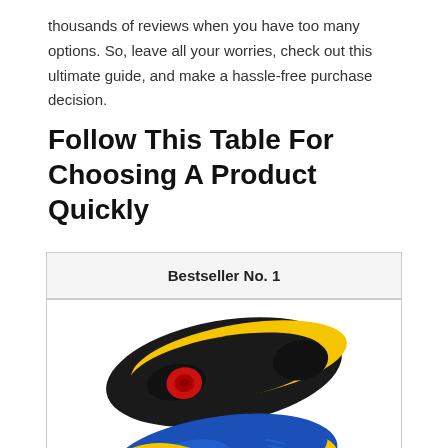thousands of reviews when you have too many options. So, leave all your worries, check out this ultimate guide, and make a hassle-free purchase decision.
Follow This Table For Choosing A Product Quickly
| Bestseller No. 1 |
| --- |
| [shoe insole product image] |